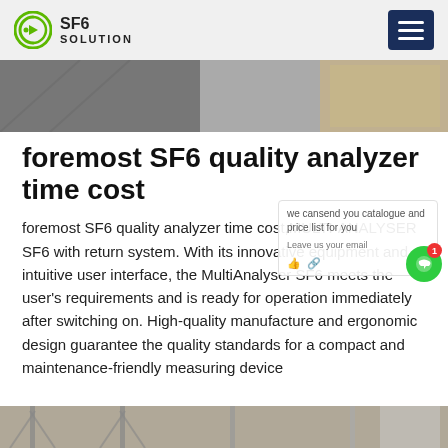SF6 SOLUTION
[Figure (photo): Hero image strip showing outdoor industrial/electrical equipment in grey tones]
foremost SF6 quality analyzer time cost
foremost SF6 quality analyzer time cost,MULTI-ANALYSER SF6 with return system. With its innovative equipment and intuitive user interface, the MultiAnalyser SF6 meets the user's requirements and is ready for operation immediately after switching on. High-quality manufacture and ergonomic design guarantee the quality standards for a compact and maintenance-friendly measuring device
[Figure (photo): Bottom image strip showing electrical tower structures / pylons]